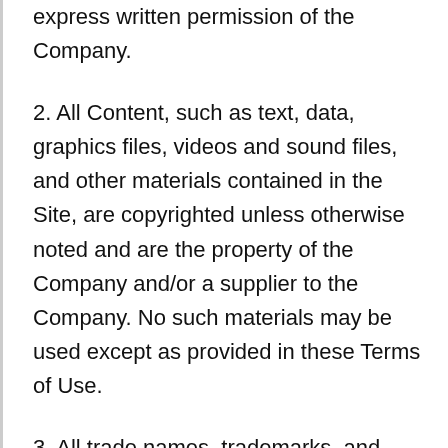express written permission of the Company.
2. All Content, such as text, data, graphics files, videos and sound files, and other materials contained in the Site, are copyrighted unless otherwise noted and are the property of the Company and/or a supplier to the Company. No such materials may be used except as provided in these Terms of Use.
3. All trade names, trademarks, and images and biographical information of people used in the Company Content and contained in the Site, including without limitation the name and